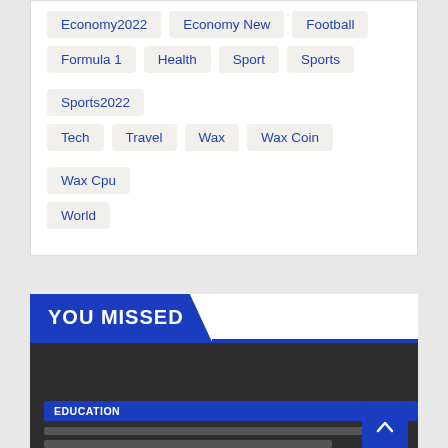Economy2022
Economy New
Football
Formula 1
Health
Sport
Sports
Sports2022
Tech
Travel
Wax
Wax Coin
Wax Cpu
World
YOU MISSED
EDUCATION